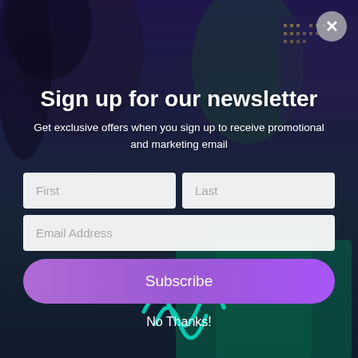[Figure (photo): Dark background with two people (a woman with curly hair and a man with glasses) against a city night skyline]
Sign up for our newsletter
Get exclusive offers when you sign up to receive promotional and marketing email
First
Last
Email Address
Subscribe
No Thanks!